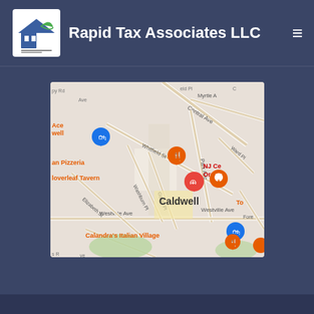Rapid Tax Associates LLC
[Figure (map): Google Maps view of Caldwell, NJ area showing streets including Central Ave, Whitfield St, Westville Ave, Park Ave, Ward Pl, Myrtle Ave, Elizabeth St, Washburn Pl, Gould Pl. Landmarks shown include NJ Ce[nter] Oral Su[rgery], Cloverleaf Tavern, Italian Pizzeria, Calandra's Italian Village, Ace [Hardware] Caldwell, and Top[s Market]. Map pins in orange, red, and blue are visible.]